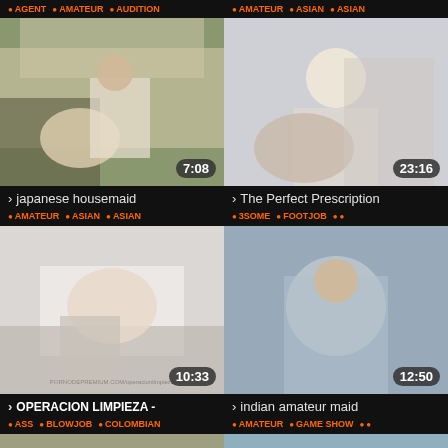AGENT • AMATEUR • AUDITION
AMATEUR • ASIAN • ASIAN
[Figure (photo): Video thumbnail - japanese housemaid, duration 7:08]
[Figure (photo): Video thumbnail - The Perfect Prescription, duration 23:16]
> japanese housemaid
AMATEUR • ASIAN • ASIAN
> The Perfect Prescription
3SOME • FOOTJOB •
[Figure (photo): Video thumbnail - OPERACION LIMPIEZA, duration 10:33]
[Figure (photo): Video thumbnail - indian amateur maid, duration 12:50]
> OPERACION LIMPIEZA -
ASS • BLOWJOB • COLOMBIAN
> indian amateur maid
AMATEUR • GAME SHOW •